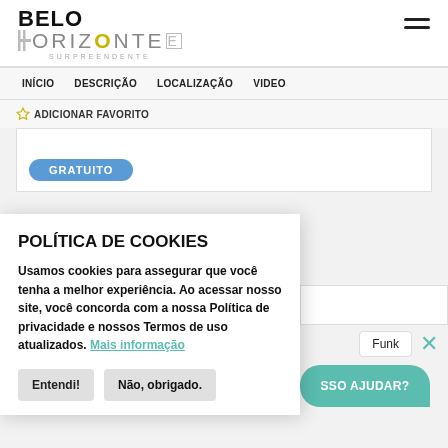[Figure (logo): Belo Horizonte Surpreendente logo with hamburger menu icon]
INÍCIO   DESCRIÇÃO   LOCALIZAÇÃO   VIDEO
☆ ADICIONAR FAVORITO
[Figure (other): Content area with GRATUITO badge]
POLÍTICA DE COOKIES
Usamos cookies para assegurar que você tenha a melhor experiência. Ao acessar nosso site, você concorda com a nossa Política de privacidade e nossos Termos de uso atualizados. Mais informação
Entendi!
Não, obrigado.
Funk
SSO AJUDAR?